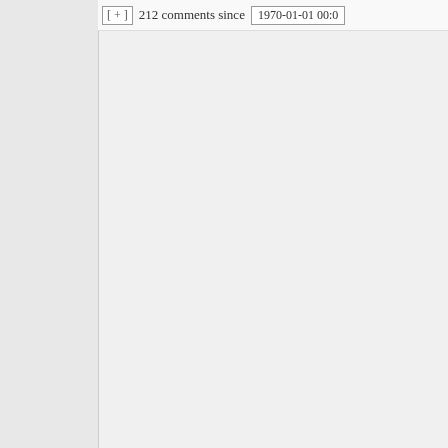[ + ]  212 comments since  1970-01-01 00:0
number of hours of peak alertness I wo without it. But without it, they would be come at the times I want them to come
So by drinking one cup around 8 AM, a at about noon, and a third about 2:30 o about two hours after lunch, I keep the nine most alert hours of the day all con from 8:30 AM until 5PM or so. I'm sure more tired later in the evening, but that And I need, I think, exactly as much sle would have needed if I didn't have my cup coffee habit. But I'm not trying to re the amount of sleepiness I experience trying to choose which hours of the day most awake.
Otherwise I would probably have pea